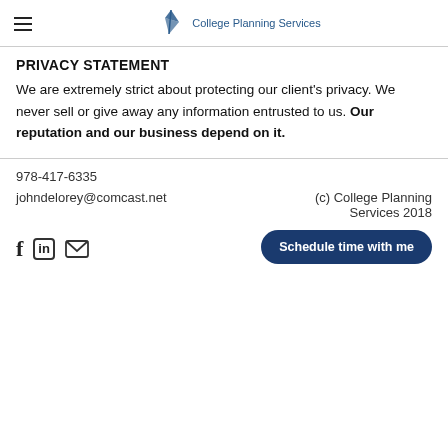College Planning Services
PRIVACY STATEMENT
We are extremely strict about protecting our client's privacy. We never sell or give away any information entrusted to us. Our reputation and our business depend on it.
978-417-6335
johndelorey@comcast.net
(c) College Planning Services 2018